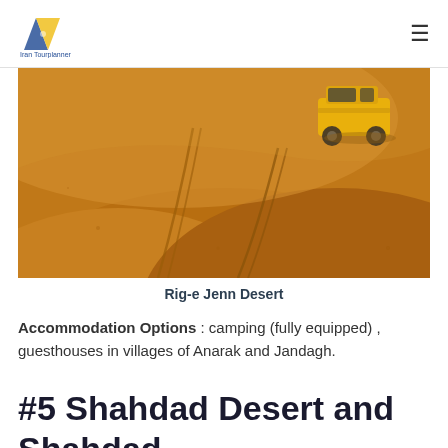Iran Tourplanner
[Figure (photo): Aerial view of a yellow 4x4 vehicle driving on orange/golden sand dunes in Rig-e Jenn Desert, with tire tracks visible in the sand.]
Rig-e Jenn Desert
Accommodation Options : camping (fully equipped) , guesthouses in villages of Anarak and Jandagh.
#5 Shahdad Desert and Shahdad